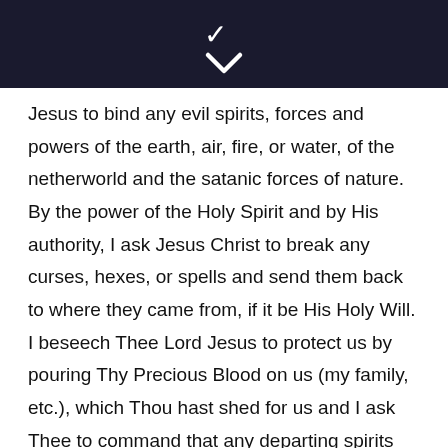[Figure (other): Dark navy header bar with a white downward chevron/arrow icon centered at the bottom]
Jesus to bind any evil spirits, forces and powers of the earth, air, fire, or water, of the netherworld and the satanic forces of nature. By the power of the Holy Spirit and by His authority, I ask Jesus Christ to break any curses, hexes, or spells and send them back to where they came from, if it be His Holy Will. I beseech Thee Lord Jesus to protect us by pouring Thy Precious Blood on us (my family, etc.), which Thou hast shed for us and I ask Thee to command that any departing spirits leave quietly, without disturbance, and go straight to Thy Cross to dispose of as Thou sees fit. I ask Thee to bind any demonic interaction, interplay or communications. I place N. (person, place or thing) under the protection of the Blood of Jesus Christ which He shed for